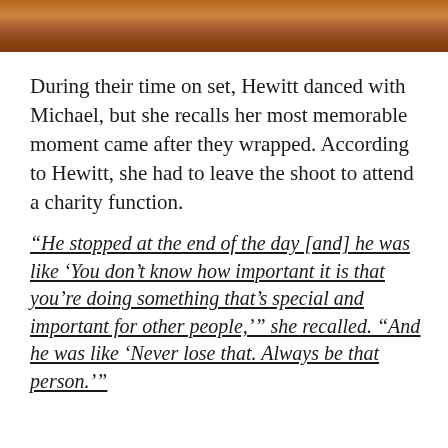[Figure (photo): Wooden surface photo strip at top of page, showing warm brown wood grain tones.]
During their time on set, Hewitt danced with Michael, but she recalls her most memorable moment came after they wrapped. According to Hewitt, she had to leave the shoot to attend a charity function.
“He stopped at the end of the day [and] he was like ‘You don’t know how important it is that you’re doing something that’s special and important for other people,’” she recalled. “And he was like ‘Never lose that. Always be that person.’”